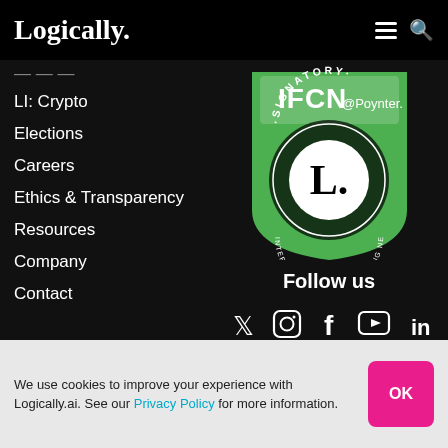Logically.
LI: Crypto
Elections
Careers
Ethics & Transparency
Resources
Company
Contact
[Figure (logo): IFCN @Poynter Signatory badge - International Fact-Checking Network, green shield shape with 'L.' in white circle]
Follow us
[Figure (infographic): Social media icons: Twitter, Instagram, Facebook, YouTube, LinkedIn]
We use cookies to improve your experience with Logically.ai. See our Privacy Policy for more information.